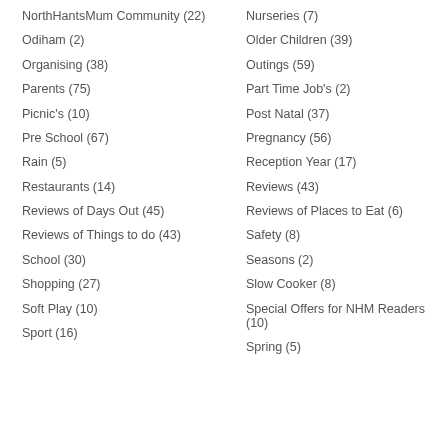NorthHantsMum Community (22)
Nurseries (7)
Odiham (2)
Older Children (39)
Organising (38)
Outings (59)
Parents (75)
Part Time Job's (2)
Picnic's (10)
Post Natal (37)
Pre School (67)
Pregnancy (56)
Rain (5)
Reception Year (17)
Restaurants (14)
Reviews (43)
Reviews of Days Out (45)
Reviews of Places to Eat (6)
Reviews of Things to do (43)
Safety (8)
School (30)
Seasons (2)
Shopping (27)
Slow Cooker (8)
Soft Play (10)
Special Offers for NHM Readers (10)
Sport (16)
Spring (5)